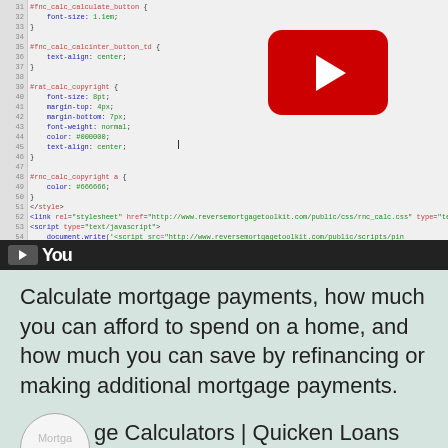[Figure (screenshot): Screenshot of a code editor showing CSS and HTML/JavaScript code with line numbers on the left side. A YouTube play button overlay (red rounded rectangle with white triangle) appears in the upper-right area of the code editor. The bottom of the screenshot shows a dark YouTube player bar with play button and YouTube logo text 'You'.]
Calculate mortgage payments, how much you can afford to spend on a home, and how much you can save by refinancing or making additional mortgage payments.
Mortgage Calculators | Quicken Loans bell
Quicken Loans reserves the right to cancel this offer at